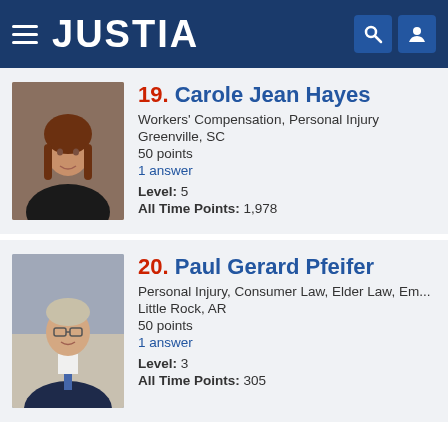JUSTIA
19. Carole Jean Hayes
Workers' Compensation, Personal Injury
Greenville, SC
50 points
1 answer
Level: 5
All Time Points: 1,978
20. Paul Gerard Pfeifer
Personal Injury, Consumer Law, Elder Law, Em...
Little Rock, AR
50 points
1 answer
Level: 3
All Time Points: 305